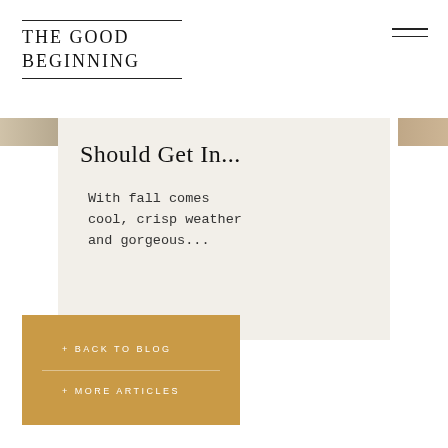THE GOOD BEGINNING
[Figure (infographic): Hamburger menu icon with two horizontal lines]
[Figure (photo): Partial image strips visible on left and right edges of card]
Should Get In...
With fall comes cool, crisp weather and gorgeous...
+ BACK TO BLOG
+ MORE ARTICLES